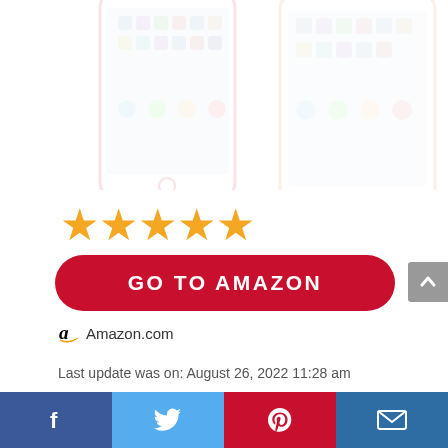[Figure (photo): Two smartphones (iPhones) shown in a faded/watermark style background at the top of the page]
[Figure (infographic): Five orange star rating icons indicating a 5-star review]
[Figure (infographic): Red rounded-rectangle button with white bold text reading GO TO AMAZON]
Amazon.com
Last update was on: August 26, 2022 11:28 am
[Figure (infographic): Social media share bar at the bottom with Facebook, Twitter, Pinterest, and Email icons]